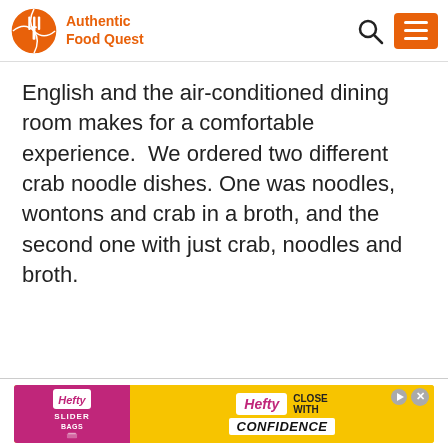Authentic Food Quest
English and the air-conditioned dining room makes for a comfortable experience.  We ordered two different crab noodle dishes. One was noodles, wontons and crab in a broth, and the second one with just crab, noodles and broth.
[Figure (other): Hefty Slider Bags advertisement banner with pink and yellow background and 'Close With Confidence' text]